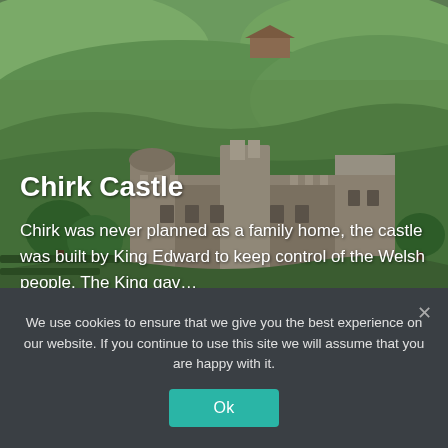[Figure (photo): Aerial photograph of Chirk Castle surrounded by green Welsh countryside hills and fields. The medieval stone castle with round towers is visible in the lower portion, set against lush rolling green hills.]
Chirk Castle
Chirk was never planned as a family home, the castle was built by King Edward to keep control of the Welsh people. The King gav…
We use cookies to ensure that we give you the best experience on our website. If you continue to use this site we will assume that you are happy with it.